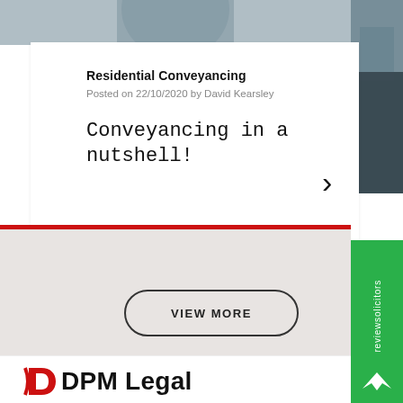[Figure (photo): Partial view of a person in professional attire, cropped at top]
Residential Conveyancing
Posted on 22/10/2020 by David Kearsley
Conveyancing in a nutshell!
VIEW MORE
[Figure (logo): reviewsolicitors green vertical tab with white text and logo]
[Figure (logo): DPM Legal logo at bottom of page]